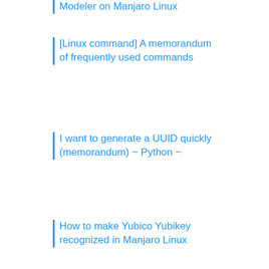Modeler on Manjaro Linux
[Linux command] A memorandum of frequently used commands
I want to generate a UUID quickly (memorandum) ~ Python ~
How to make Yubico Yubikey recognized in Manjaro Linux